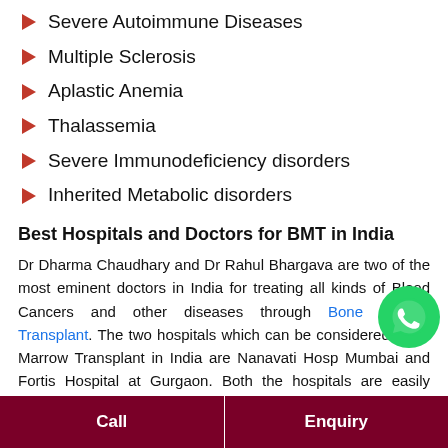Severe Autoimmune Diseases
Multiple Sclerosis
Aplastic Anemia
Thalassemia
Severe Immunodeficiency disorders
Inherited Metabolic disorders
Best Hospitals and Doctors for BMT in India
Dr Dharma Chaudhary and Dr Rahul Bhargava are two of the most eminent doctors in India for treating all kinds of Blood Cancers and other diseases through Bone Marrow Transplant. The two hospitals which can be considered Bone Marrow Transplant in India are Nanavati Hospital Mumbai and Fortis Hospital at Gurgaon. Both the hospitals are easily accessible from International Airports at Mumbai
Call | Enquiry